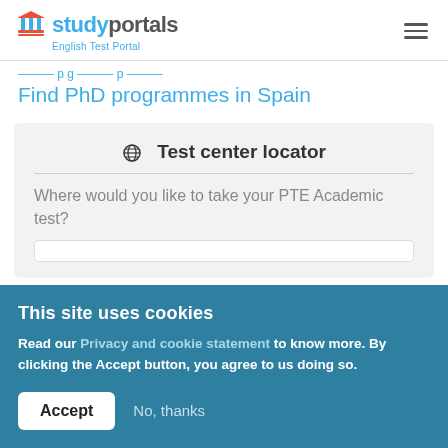studyportals English Test Portal
Find PhD programmes in Spain
Test center locator
Where would you like to take your PTE Academic test?
This site uses cookies
Read our Privacy and cookie statement to know more. By clicking the Accept button, you agree to us doing so.
Accept
No, thanks